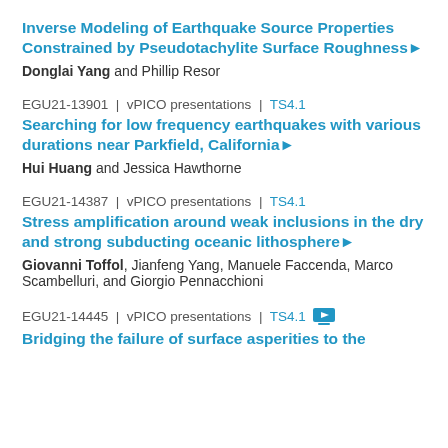Inverse Modeling of Earthquake Source Properties Constrained by Pseudotachylite Surface Roughness▶
Donglai Yang and Phillip Resor
EGU21-13901 | vPICO presentations | TS4.1
Searching for low frequency earthquakes with various durations near Parkfield, California▶
Hui Huang and Jessica Hawthorne
EGU21-14387 | vPICO presentations | TS4.1
Stress amplification around weak inclusions in the dry and strong subducting oceanic lithosphere▶
Giovanni Toffol, Jianfeng Yang, Manuele Faccenda, Marco Scambelluri, and Giorgio Pennacchioni
EGU21-14445 | vPICO presentations | TS4.1 🖥
Bridging the failure of surface asperities to the